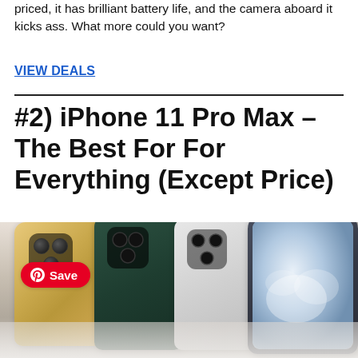priced, it has brilliant battery life, and the camera aboard it kicks ass. What more could you want?
VIEW DEALS
#2) iPhone 11 Pro Max – The Best For For Everything (Except Price)
[Figure (photo): Four iPhone 11 Pro Max phones shown from behind in gold, midnight green, silver, and space gray colors, with a Pinterest Save button overlay. A reflection is visible at the bottom.]